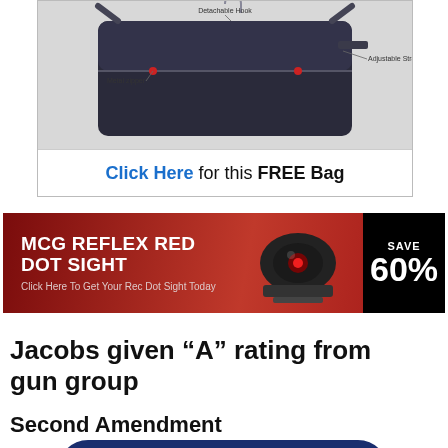[Figure (advertisement): Advertisement showing a dark tactical/messenger bag with labels: Detachable Hook, Metal zipper, Adjustable Strap. Below the bag image is a call-to-action bar reading 'Click Here for this FREE Bag'.]
[Figure (advertisement): Red banner advertisement for MCG Reflex Red Dot Sight with text 'MCG REFLEX RED DOT SIGHT', 'Click Here To Get Your Rec Dot Sight Today', an image of a red dot sight scope, and a black badge reading 'SAVE 60%'.]
Jacobs given “A” rating from gun group
Second Amendment
[Figure (other): Partial view of a dark navy blue rounded rectangle shape, cropped at bottom of page, likely a UI element or graphic.]